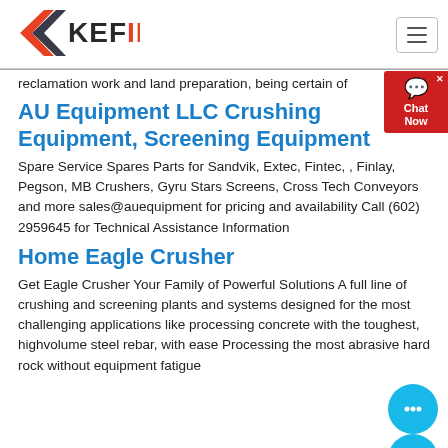[Figure (logo): KEFID logo with red and dark grey arrow/chevron shape on left and bold KEFID text where D is in red]
reclamation work and land preparation, being certain of
AU Equipment LLC Crushing Equipment, Screening Equipment
Spare Service Spares Parts for Sandvik, Extec, Fintec, , Finlay, Pegson, MB Crushers, Gyru Stars Screens, Cross Tech Conveyors and more sales@auequipment for pricing and availability Call (602) 2959645 for Technical Assistance Information
Home Eagle Crusher
Get Eagle Crusher Your Family of Powerful Solutions A full line of crushing and screening plants and systems designed for the most challenging applications like processing concrete with the toughest, highvolume steel rebar, with ease Processing the most abrasive hard rock without equipment fatigue